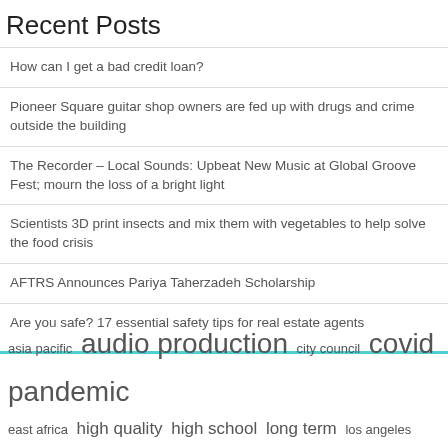Recent Posts
How can I get a bad credit loan?
Pioneer Square guitar shop owners are fed up with drugs and crime outside the building
The Recorder – Local Sounds: Upbeat New Music at Global Groove Fest; mourn the loss of a bright light
Scientists 3D print insects and mix them with vegetables to help solve the food crisis
AFTRS Announces Pariya Taherzadeh Scholarship
Are you safe? 17 essential safety tips for real estate agents
asia pacific  audio production  city council  covid pandemic  east africa  high quality  high school  long term  los angeles  middle east  north america  press release  public health  united states  vice president